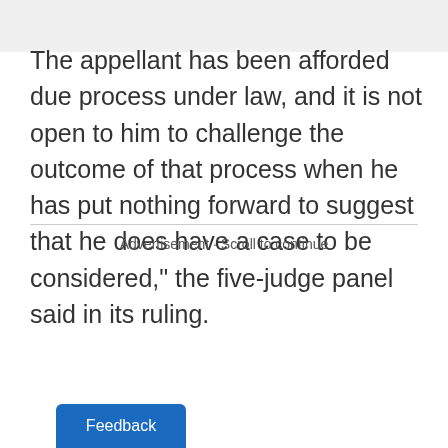The appellant has been afforded due process under law, and it is not open to him to challenge the outcome of that process when he has put nothing forward to suggest that he does have a case to be considered," the five-judge panel said in its ruling.
Advertisement · Scroll to continue
Feedback